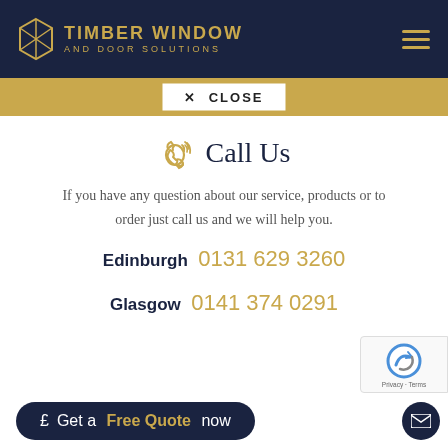[Figure (logo): Timber Window and Door Solutions logo with navy background, gold diamond icon and gold lettering]
X  CLOSE
Call Us
If you have any question about our service, products or to order just call us and we will help you.
Edinburgh 0131 629 3260
Glasgow 0141 374 0291
£ Get a Free Quote now